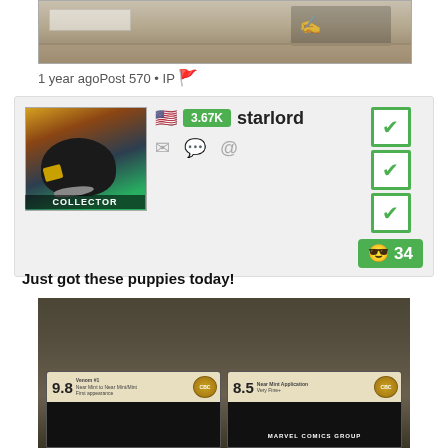[Figure (photo): Top portion of a graded comic book slab showing barcode and signature area]
1 year ago Post 570 • IP 🚩
[Figure (photo): Forum post by user starlord (COLLECTOR rank) with avatar of a bird/muppet character, US flag, 3.67K reputation badge, three green checkboxes, and cool rating of 34]
Just got these puppies today!
[Figure (photo): Two CBCS graded comic book slabs side by side - one graded 9.8 (Venom #1) and one graded 8.5 (Marvel Comics), both in black cases with yellow label strips]